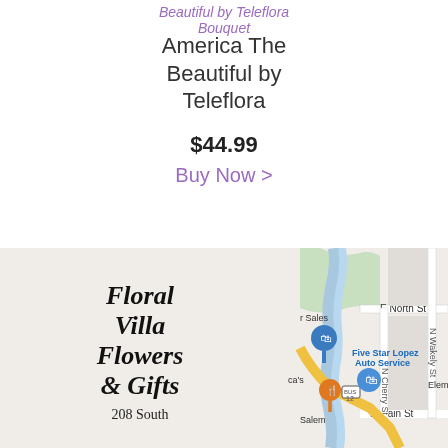Beautiful by Teleflora Bouquet
America The Beautiful by Teleflora
$44.99
Buy Now >
[Figure (map): Map showing location near E North St, N Cherry St, E Main St with Five Star Lopez Auto Service and other landmarks. Blue shopping bag marker visible.]
Floral Villa Flowers & Gifts
208 South